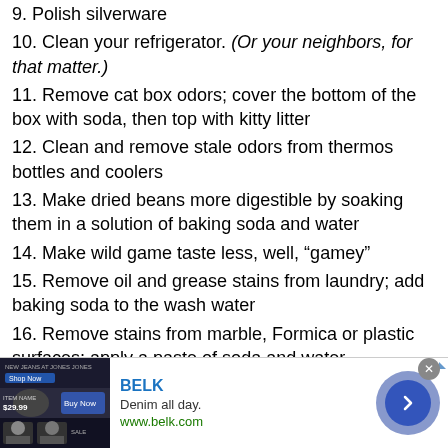9. Polish silverware
10. Clean your refrigerator. (Or your neighbors, for that matter.)
11. Remove cat box odors; cover the bottom of the box with soda, then top with kitty litter
12. Clean and remove stale odors from thermos bottles and coolers
13. Make dried beans more digestible by soaking them in a solution of baking soda and water
14. Make wild game taste less, well, “gamey”
15. Remove oil and grease stains from laundry; add baking soda to the wash water
16. Remove stains from marble, Formica or plastic surfaces; apply a paste of soda and water
17. Remove grease from garage floors
[Figure (other): Advertisement banner for BELK: Denim all day. www.belk.com, with fashion image and arrow button]